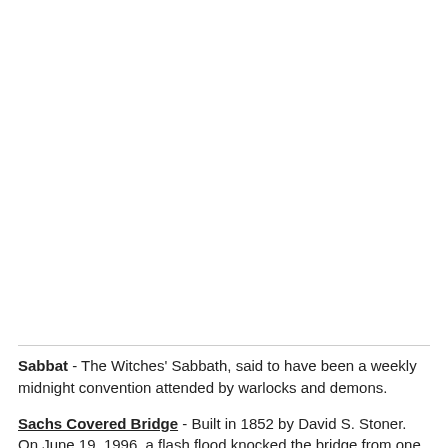[Figure (other): Large blank white image area occupying the top portion of the page]
Sabbat - The Witches' Sabbath, said to have been a weekly midnight convention attended by warlocks and demons.
Sachs Covered Bridge - Built in 1852 by David S. Stoner. On June 19, 1996, a flash flood knocked the bridge from one of its